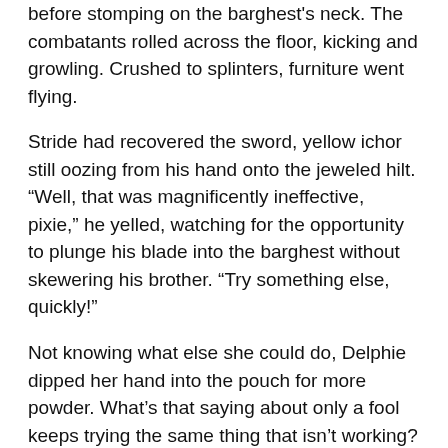before stomping on the barghest's neck. The combatants rolled across the floor, kicking and growling. Crushed to splinters, furniture went flying.
Stride had recovered the sword, yellow ichor still oozing from his hand onto the jeweled hilt. “Well, that was magnificently ineffective, pixie,” he yelled, watching for the opportunity to plunge his blade into the barghest without skewering his brother. “Try something else, quickly!”
Not knowing what else she could do, Delphie dipped her hand into the pouch for more powder. What’s that saying about only a fool keeps trying the same thing that isn’t working? That would be me.
Just as she threw the next handful, Dash and the barghest broke apart, snarling. The dust drifted onto both of them, converting the barghest to a kitten and Dash into a mouse. In the blink of an eye, the kitten seized the mouse by the tail and darted toward the front door to make its escape from the cottage.
“Don’t let him get away!” Stride shifted to block the exit, but